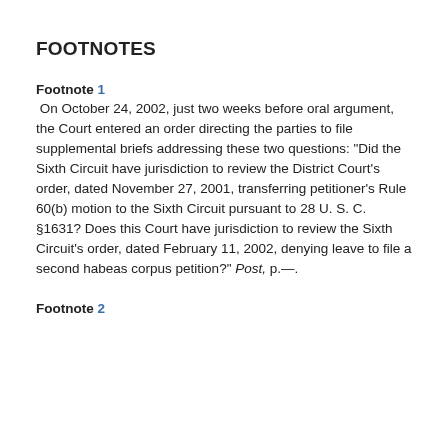FOOTNOTES
Footnote 1
 On October 24, 2002, just two weeks before oral argument, the Court entered an order directing the parties to file supplemental briefs addressing these two questions: "Did the Sixth Circuit have jurisdiction to review the District Court's order, dated November 27, 2001, transferring petitioner's Rule 60(b) motion to the Sixth Circuit pursuant to 28 U. S. C. §1631? Does this Court have jurisdiction to review the Sixth Circuit's order, dated February 11, 2002, denying leave to file a second habeas corpus petition?" Post, p.—.
Footnote 2